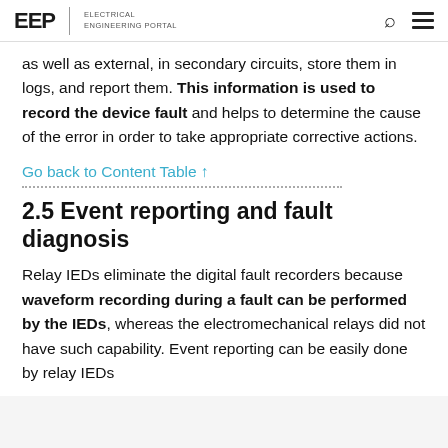EEP | ELECTRICAL ENGINEERING PORTAL
as well as external, in secondary circuits, store them in logs, and report them. This information is used to record the device fault and helps to determine the cause of the error in order to take appropriate corrective actions.
Go back to Content Table ↑
2.5 Event reporting and fault diagnosis
Relay IEDs eliminate the digital fault recorders because waveform recording during a fault can be performed by the IEDs, whereas the electromechanical relays did not have such capability. Event reporting can be easily done by relay IEDs